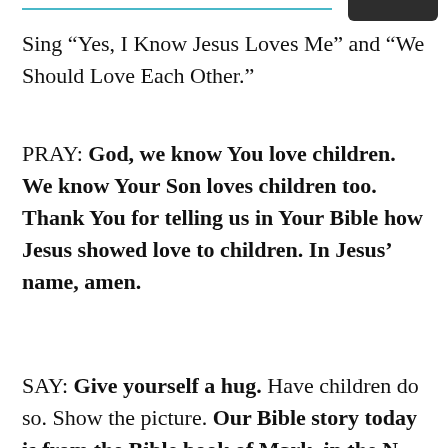Sing “Yes, I Know Jesus Loves Me” and “We Should Love Each Other.”
PRAY: God, we know You love children. We know Your Son loves children too. Thank You for telling us in Your Bible how Jesus showed love to children. In Jesus’ name, amen.
SAY: Give yourself a hug. Have children do so. Show the picture. Our Bible story today is from the Bible book of Mark, in the N...